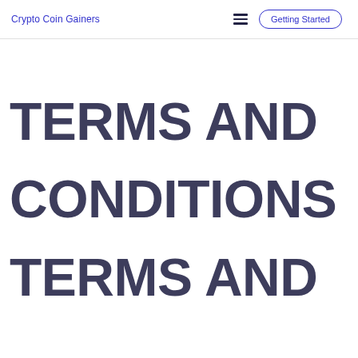Crypto Coin Gainers   ≡   Getting Started
TERMS AND CONDITIONS TERMS AND